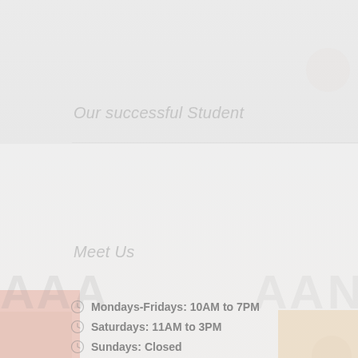Our successful Student
Meet Us
Mondays-Fridays: 10AM to 7PM
Saturdays: 11AM to 3PM
Sundays: Closed
Call Us: 0135-2711482, +91-